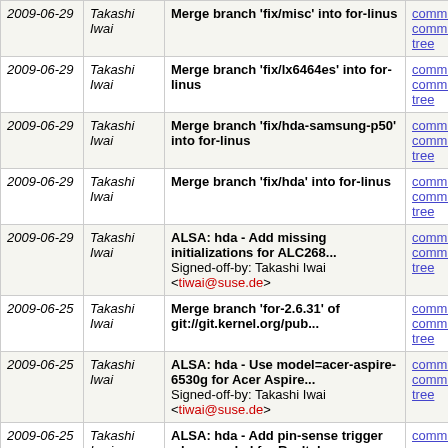| Date | Author | Message | Links |
| --- | --- | --- | --- |
| 2009-06-29 | Takashi Iwai | Merge branch 'fix/misc' into for-linus | commit | commitdiff | tree |
| 2009-06-29 | Takashi Iwai | Merge branch 'fix/lx6464es' into for-linus | commit | commitdiff | tree |
| 2009-06-29 | Takashi Iwai | Merge branch 'fix/hda-samsung-p50' into for-linus | commit | commitdiff | tree |
| 2009-06-29 | Takashi Iwai | Merge branch 'fix/hda' into for-linus | commit | commitdiff | tree |
| 2009-06-29 | Takashi Iwai | ALSA: hda - Add missing initializations for ALC268... Signed-off-by: Takashi Iwai <tiwai@suse.de> | commit | commitdiff | tree |
| 2009-06-25 | Takashi Iwai | Merge branch 'for-2.6.31' of git://git.kernel.org/pub... | commit | commitdiff | tree |
| 2009-06-25 | Takashi Iwai | ALSA: hda - Use model=acer-aspire-6530g for Acer Aspire... Signed-off-by: Takashi Iwai <tiwai@suse.de> | commit | commitdiff | tree |
| 2009-06-25 | Takashi Iwai | ALSA: hda - Add pin-sense trigger when needed for Realtek... Signed-off-by: Takashi Iwai <tiwai@suse.de> | commit | commitdiff | tree |
| 2009-06-24 | Takashi Iwai | ALSA: hda - Fix support for Samsung P50 with AD1986A... Signed-off-by: Takashi Iwai <tiwai@suse.de> | commit | commitdiff | tree |
| 2009- | Takashi | ALSA: hda - Generalize the pin- | commit | commitdiff |